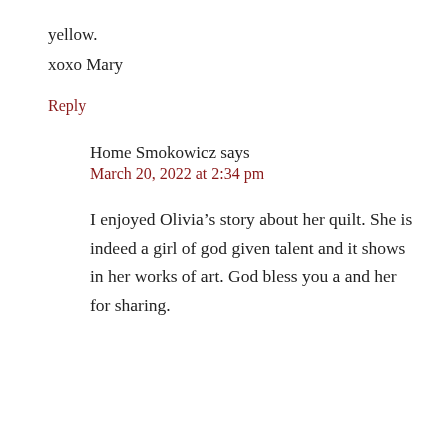yellow.
xoxo Mary
Reply
Home Smokowicz says
March 20, 2022 at 2:34 pm
I enjoyed Olivia’s story about her quilt. She is indeed a girl of god given talent and it shows in her works of art. God bless you a and her for sharing.